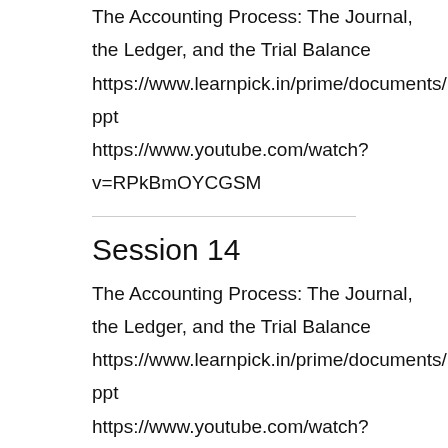The Accounting Process: The Journal, the Ledger, and the Trial Balance
https://www.learnpick.in/prime/documents/ppt
https://www.youtube.com/watch?v=RPkBmOYCGSM
Session 14
The Accounting Process: The Journal, the Ledger, and the Trial Balance
https://www.learnpick.in/prime/documents/ppt
https://www.youtube.com/watch?